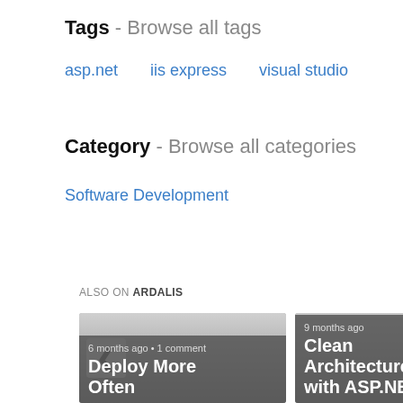Tags - Browse all tags
asp.net
iis express
visual studio
Category - Browse all categories
Software Development
ALSO ON ARDALIS
[Figure (screenshot): Two article cards: 'Deploy More Often' (6 months ago, 1 comment) and 'Clean Architecture with ASP.NE...' (9 months ago), with left/right navigation arrows.]